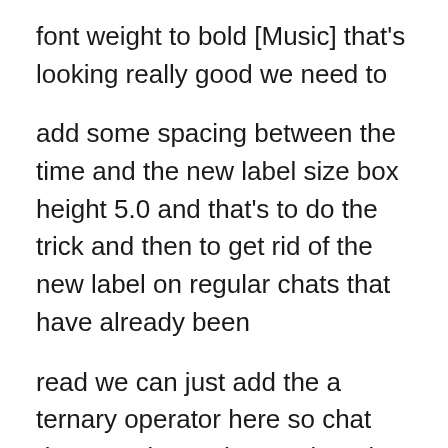font weight to bold [Music] that's looking really good we need to
add some spacing between the time and the new label size box height 5.0 and that's to do the trick and then to get rid of the new label on regular chats that have already been
read we can just add the a ternary operator here so chat dot on red question mark and then we can just put text empty textbox so this is checking if the chats on red if it's on red then
we display the label if not then we just have an empty text box and you may be wondering if